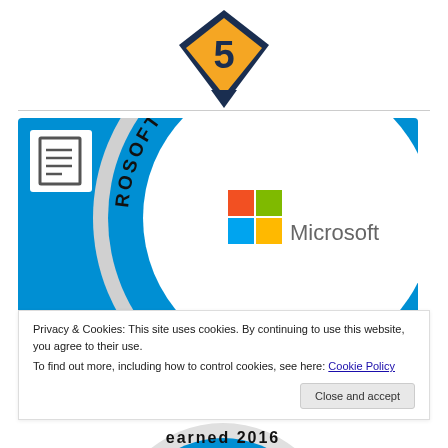[Figure (illustration): Top portion of a diamond/shield shaped badge with gold/yellow color and dark navy border, showing a number 5 in the center, partially cropped at top]
[Figure (illustration): Microsoft Certified Professional circular badge/seal. Large circle with blue background and curved text reading 'MICROSOFT CERTIFIED PROFESSIONAL' around the arc. Center shows Microsoft logo (four colored squares: red, green, blue, yellow) with the word 'Microsoft' in gray. Top-left corner shows a document/list icon in a white box.]
Privacy & Cookies: This site uses cookies. By continuing to use this website, you agree to their use.
To find out more, including how to control cookies, see here: Cookie Policy
[Figure (illustration): Bottom partial view of another Microsoft certification badge showing text 'earned 2016' partially visible]